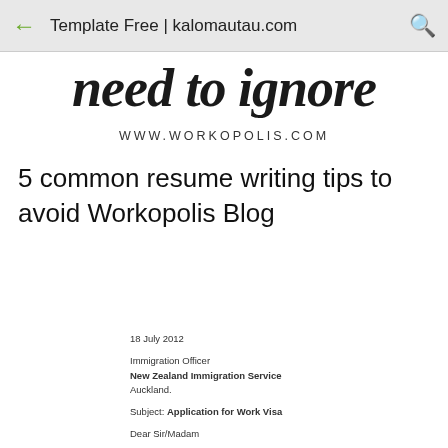Template Free | kalomautau.com
need to ignore
WWW.WORKOPOLIS.COM
5 common resume writing tips to avoid Workopolis Blog
18 July 2012

Immigration Officer
New Zealand Immigration Service
Auckland.

Subject: Application for Work Visa

Dear Sir/Madam

I am applying for work visa. I have attached application form along with